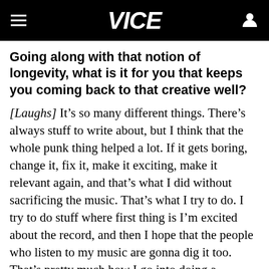VICE
Going along with that notion of longevity, what is it for you that keeps you coming back to that creative well?
[Laughs] It’s so many different things. There’s always stuff to write about, but I think that the whole punk thing helped a lot. If it gets boring, change it, fix it, make it exciting, make it relevant again, and that’s what I did without sacrificing the music. That’s what I try to do. I try to do stuff where first thing is I’m excited about the record, and then I hope that the people who listen to my music are gonna dig it too. That’s pretty much how I go into doing a